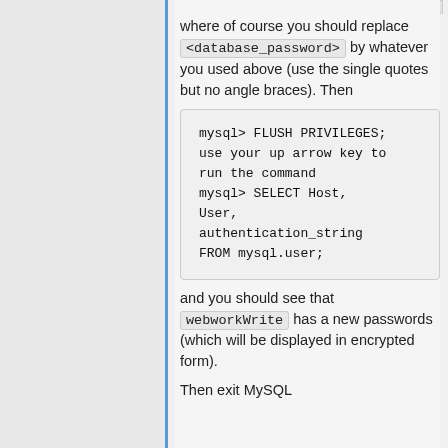where of course you should replace <database_password> by whatever you used above (use the single quotes but no angle braces). Then
mysql> FLUSH PRIVILEGES;
use your up arrow key to run the command
mysql> SELECT Host, User, authentication_string FROM mysql.user;
and you should see that webworkWrite has a new passwords (which will be displayed in encrypted form).
Then exit MySQL